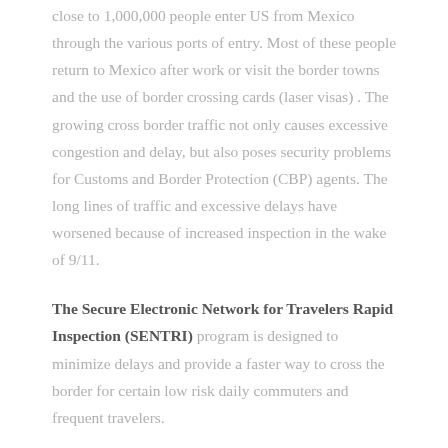close to 1,000,000 people enter US from Mexico through the various ports of entry. Most of these people return to Mexico after work or visit the border towns and the use of border crossing cards (laser visas) . The growing cross border traffic not only causes excessive congestion and delay, but also poses security problems for Customs and Border Protection (CBP) agents. The long lines of traffic and excessive delays have worsened because of increased inspection in the wake of 9/11.
The Secure Electronic Network for Travelers Rapid Inspection (SENTRI) program is designed to minimize delays and provide a faster way to cross the border for certain low risk daily commuters and frequent travelers.